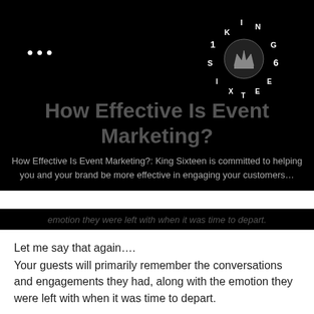[Figure (logo): King Sixteen circular logo with letters K, I, N, G, 1, 6, S, I, X, T, E, E, N arranged in a circle around a crown illustration]
How Effective Is Event Marketing?
How Effective Is Event Marketing?: King Sixteen is committed to helping you and your brand be more effective in engaging your customers…
emotion they were left with when it was time to depart.
Let me say that again….
Your guests will primarily remember the conversations and engagements they had, along with the emotion they were left with when it was time to depart.